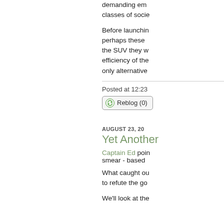demanding em... classes of socie...
Before launchin... perhaps these... the SUV they w... efficiency of the... only alternative...
Posted at 12:23
[Figure (other): Reblog (0) button with recycling icon]
AUGUST 23, 20...
Yet Another...
Captain Ed poin... smear - based...
What caught ou... to refute the go...
We'll look at the...